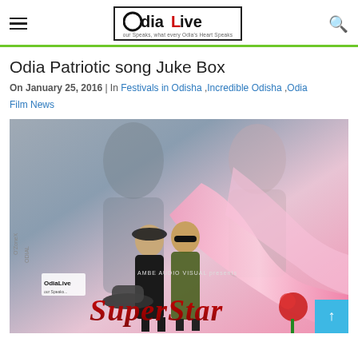OdiaLive — our Speaks, what every Odia's Heart Speaks
Odia Patriotic song Juke Box
On January 25, 2016 | In Festivals in Odisha ,Incredible Odisha ,Odia Film News
[Figure (photo): Movie poster for 'Super Star' by Ambe Audio Visual, showing Bollywood-style actors including a man in sunglasses and a woman, with floral and silk fabric design elements, and the OdiaLive watermark]